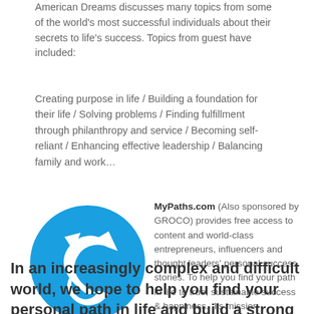American Dreams discusses many topics from some of the world's most successful individuals about their secrets to life's success. Topics from guest have included:
Creating purpose in life / Building a foundation for their life / Solving problems / Finding fulfillment through philanthropy and service / Becoming self-reliant / Enhancing effective leadership / Balancing family and work…
[Figure (logo): MyPaths.com logo: a blue circle with a white upward-curving arrow]
MyPaths.com (Also sponsored by GROCO) provides free access to content and world-class entrepreneurs, influencers and thought leaders' personal success stories. To help you find your path in life to true, sustainable success & happiness.  I's mission statement:
In an increasingly complex and difficult world, we hope to help you find your personal path in life and build a strong foundation by learning how others found success and